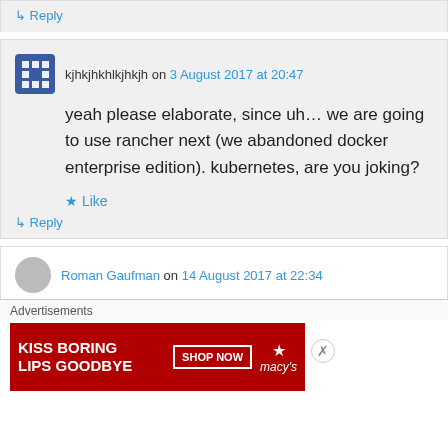↳ Reply
kjhkjhkhlkjhkjh on 3 August 2017 at 20:47
yeah please elaborate, since uh… we are going to use rancher next (we abandoned docker enterprise edition). kubernetes, are you joking?
★ Like
↳ Reply
Roman Gaufman on 14 August 2017 at 22:34
Advertisements
[Figure (photo): Advertisement banner for Macy's showing 'KISS BORING LIPS GOODBYE' with SHOP NOW button and Macy's logo]